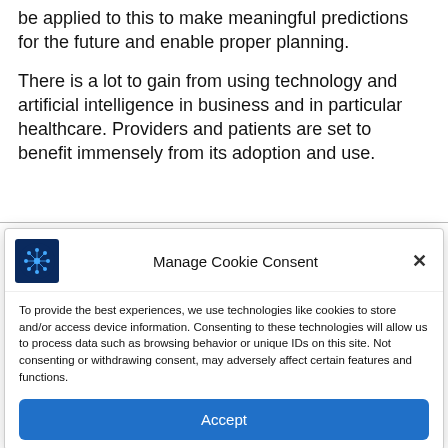be applied to this to make meaningful predictions for the future and enable proper planning.
There is a lot to gain from using technology and artificial intelligence in business and in particular healthcare. Providers and patients are set to benefit immensely from its adoption and use.
[Figure (screenshot): Cookie consent modal dialog with logo, title 'Manage Cookie Consent', close button (×), body text about cookies, and an 'Accept' button.]
To provide the best experiences, we use technologies like cookies to store and/or access device information. Consenting to these technologies will allow us to process data such as browsing behavior or unique IDs on this site. Not consenting or withdrawing consent, may adversely affect certain features and functions.
Accept